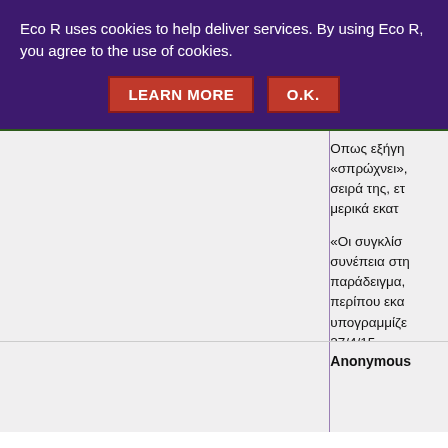Eco R uses cookies to help deliver services. By using Eco R, you agree to the use of cookies.
LEARN MORE   O.K.
Οπως εξήγη «σπρώχνει», σειρά της, ετ μερικά εκατ
«Οι συγκλίσ συνέπεια στη παράδειγμα, περίπου εκα υπογραμμίζε 27/4/15
Reply
Anonymous